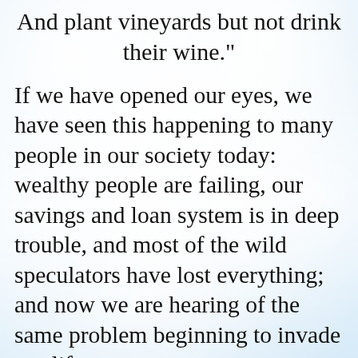And plant vineyards but not drink their wine."
If we have opened our eyes, we have seen this happening to many people in our society today: wealthy people are failing, our savings and loan system is in deep trouble, and most of the wild speculators have lost everything; and now we are hearing of the same problem beginning to invade our life